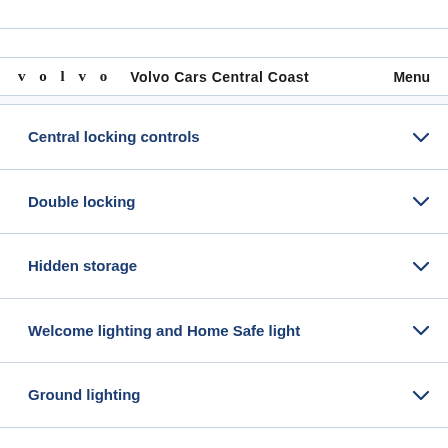VOLVO   Volvo Cars Central Coast   Menu
Central locking controls
Double locking
Hidden storage
Welcome lighting and Home Safe light
Ground lighting
HomeLink and automatically dimmed inner rear-view